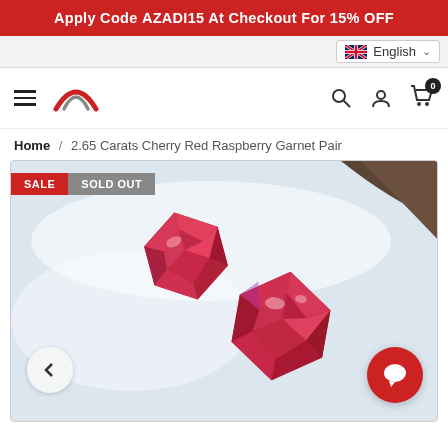Apply Code AZADI15 At Checkout For 15% OFF
[Figure (screenshot): Navigation bar with hamburger menu, site logo (red arch shape), search icon, account icon, and cart icon with 0 badge. Language selector showing English with UK flag.]
Home / 2.65 Carats Cherry Red Raspberry Garnet Pair
[Figure (photo): Product photo showing two cherry red raspberry garnet gemstones with emerald cut, displayed on a white fabric background. SALE and SOLD OUT badges visible in top left corner. Left navigation arrow and red chat bubble visible.]